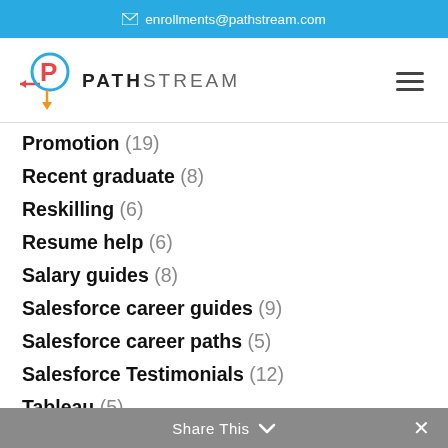enrollments@pathstream.com
[Figure (logo): Pathstream logo with stylized P icon and PATHSTREAM wordmark, hamburger menu icon on right]
Promotion (19)
Recent graduate (8)
Reskilling (6)
Resume help (6)
Salary guides (8)
Salesforce career guides (9)
Salesforce career paths (5)
Salesforce Testimonials (12)
Tableau (5)
upskilling (10)
Share This ∨  ✕